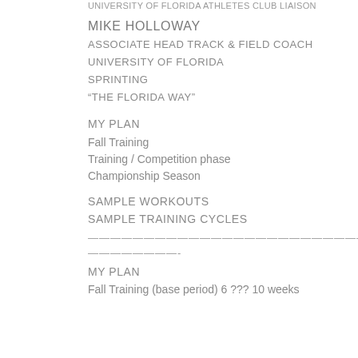UNIVERSITY OF FLORIDA ATHLETES CLUB LIAISON
MIKE HOLLOWAY
ASSOCIATE HEAD TRACK & FIELD COACH
UNIVERSITY OF FLORIDA
SPRINTING
“THE FLORIDA WAY”
MY PLAN
Fall Training
Training / Competition phase
Championship Season
SAMPLE WORKOUTS
SAMPLE TRAINING CYCLES
——————————————————————————————
————————-
MY PLAN
Fall Training (base period) 6 ??? 10 weeks